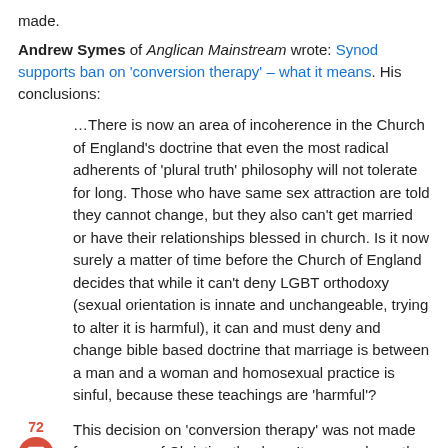made.
Andrew Symes of Anglican Mainstream wrote: Synod supports ban on 'conversion therapy' – what it means. His conclusions:
…There is now an area of incoherence in the Church of England's doctrine that even the most radical adherents of 'plural truth' philosophy will not tolerate for long. Those who have same sex attraction are told they cannot change, but they also can't get married or have their relationships blessed in church. Is it now surely a matter of time before the Church of England decides that while it can't deny LGBT orthodoxy (sexual orientation is innate and unchangeable, trying to alter it is harmful), it can and must deny and change bible based doctrine that marriage is between a man and a woman and homosexual practice is sinful, because these teachings are 'harmful'?
This decision on 'conversion therapy' was not made for reasons of Christian theology. It was made on the basis of fake science (as many of the articles here demonstrate), fear of the LGBT lobby and the dreaded "Tim Farron question",